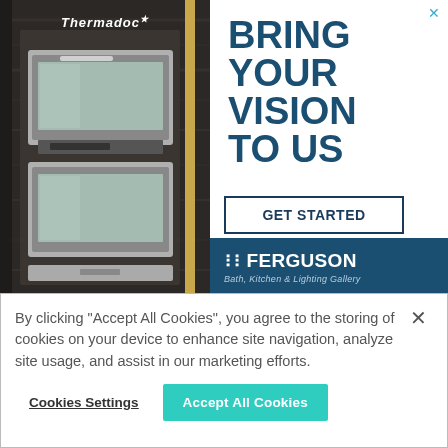[Figure (photo): Advertisement image showing Thermadoc branded kitchen oven in dark wood cabinetry with stainless steel double oven]
BRING YOUR VISION TO US
GET STARTED
[Figure (logo): Ferguson Bath, Kitchen & Lighting Gallery logo in white on dark blue background]
By clicking “Accept All Cookies”, you agree to the storing of cookies on your device to enhance site navigation, analyze site usage, and assist in our marketing efforts.
Cookies Settings
Accept All Cookies